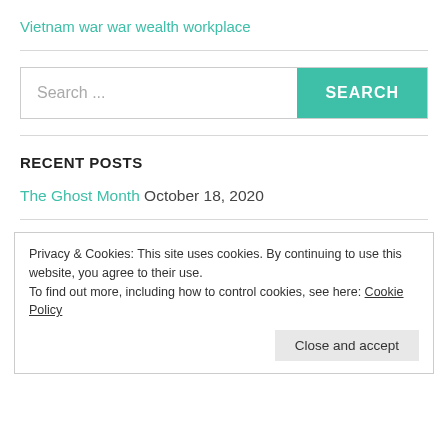Vietnam war war wealth workplace
Search ...
RECENT POSTS
The Ghost Month October 18, 2020
Privacy & Cookies: This site uses cookies. By continuing to use this website, you agree to their use.
To find out more, including how to control cookies, see here: Cookie Policy
Close and accept